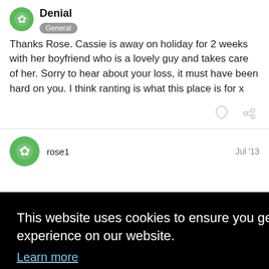Denial — General
Thanks Rose. Cassie is away on holiday for 2 weeks with her boyfriend who is a lovely guy and takes care of her. Sorry to hear about your loss, it must have been hard on you. I think ranting is what this place is for x
rose1  Jul '13
This website uses cookies to ensure you get the best experience on our website. Learn more
Got it!